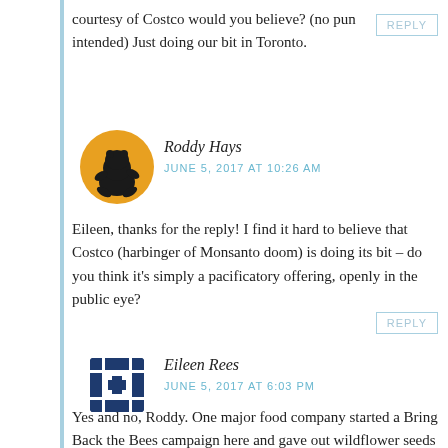courtesy of Costco would you believe? (no pun intended) Just doing our bit in Toronto.
REPLY
[Figure (illustration): Round avatar with silhouette of a frog on a yellow/orange background]
Roddy Hays
JUNE 5, 2017 AT 10:26 AM
Eileen, thanks for the reply! I find it hard to believe that Costco (harbinger of Monsanto doom) is doing its bit – do you think it's simply a pacificatory offering, openly in the public eye?
REPLY
[Figure (logo): Round avatar with a dark blue geometric/pixel cross pattern on white background]
Eileen Rees
JUNE 5, 2017 AT 6:03 PM
Yes and no, Roddy. One major food company started a Bring Back the Bees campaign here and gave out wildflower seeds from PEI with cereal